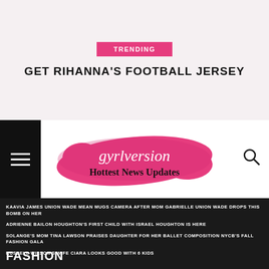TRENDING
GET RIHANNA'S FOOTBALL JERSEY
[Figure (logo): gyrlversion Hottest News Updates logo with pink brushstroke background]
KAAVIA JAMES UNION WADE MEAN MUGS CAMERA AFTER MOM GABRIELLE UNION WADE DROPS THIS BOMB ON HER
ADRIENNE BAILON HOUGHTON'S FIRST CHILD WITH ISRAEL HOUGHTON IS HERE
SOLANGE'S MOM TINA LAWSON PRAISES DAUGHTER FOR HER BALLET COMPOSITION NYCB'S FALL FASHION GALA
RUSSELL WILSON'S WIFE CIARA LOOKS GOOD WITH 6 KIDS
FASHION